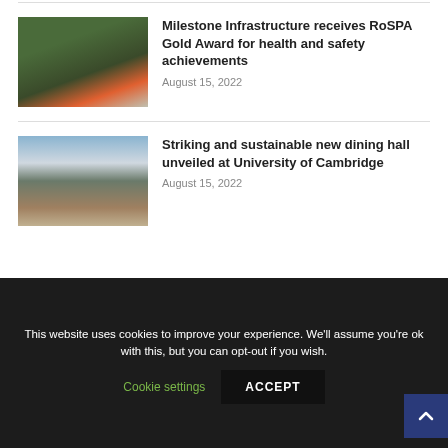Milestone Infrastructure receives RoSPA Gold Award for health and safety achievements
August 15, 2022
Striking and sustainable new dining hall unveiled at University of Cambridge
August 15, 2022
This website uses cookies to improve your experience. We'll assume you're ok with this, but you can opt-out if you wish.
Cookie settings
ACCEPT